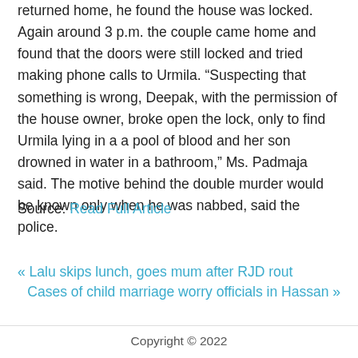returned home, he found the house was locked. Again around 3 p.m. the couple came home and found that the doors were still locked and tried making phone calls to Urmila. “Suspecting that something is wrong, Deepak, with the permission of the house owner, broke open the lock, only to find Urmila lying in a a pool of blood and her son drowned in water in a bathroom,” Ms. Padmaja said. The motive behind the double murder would be known only when he was nabbed, said the police.
Source: Read Full Article
« Lalu skips lunch, goes mum after RJD rout
Cases of child marriage worry officials in Hassan »
Copyright © 2022